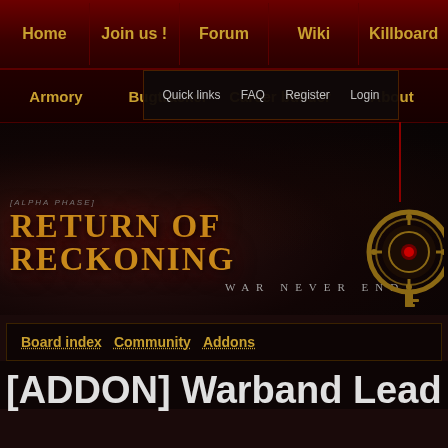Home | Join us ! | Forum | Wiki | Killboard
Armory | Bugtracker | Career builder | About | Quick links | FAQ | Register | Login
[Figure (logo): Return of Reckoning - War Never Ends game logo with golden emblem, dark background with faint warrior figure, [ALPHA PHASE] text above title]
Board index  Community  Addons
[ADDON] Warband Lead